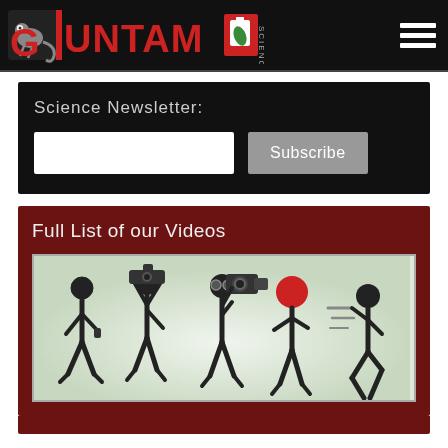UNTAMED SCIENCE
Science Newsletter:
[Figure (illustration): Email input field and Subscribe button on dark background]
Full List of our Videos
[Figure (illustration): Stick figure sequence showing evolution of video making: walking figure, figure with camera raised, figure with camera recording figure with red ball head, running figure]